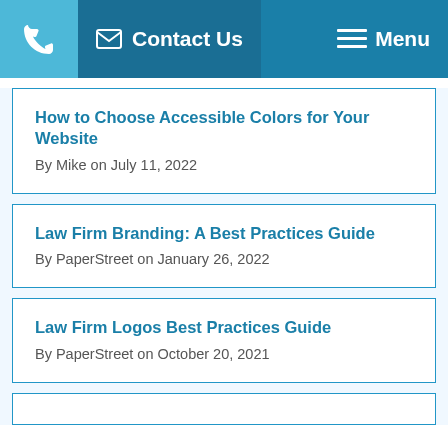Contact Us  Menu
How to Choose Accessible Colors for Your Website
By Mike on July 11, 2022
Law Firm Branding: A Best Practices Guide
By PaperStreet on January 26, 2022
Law Firm Logos Best Practices Guide
By PaperStreet on October 20, 2021